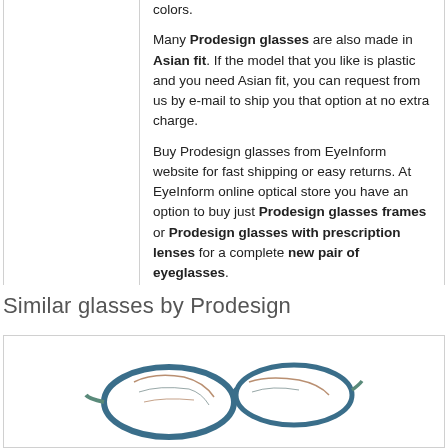colors.

Many Prodesign glasses are also made in Asian fit. If the model that you like is plastic and you need Asian fit, you can request from us by e-mail to ship you that option at no extra charge.

Buy Prodesign glasses from EyeInform website for fast shipping or easy returns. At EyeInform online optical store you have an option to buy just Prodesign glasses frames or Prodesign glasses with prescription lenses for a complete new pair of eyeglasses.
Similar glasses by Prodesign
[Figure (photo): Photo of Prodesign eyeglasses frames in a tortoise/blue pattern, shown from a three-quarter angle]